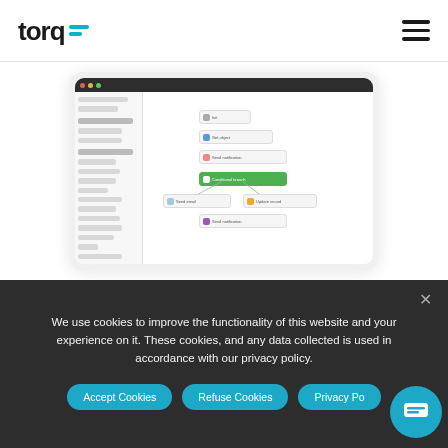torq
[Figure (screenshot): Screenshot of the Torq automation platform workflow builder UI inside a laptop frame. Shows a left sidebar with various node/action categories and a main canvas with workflow nodes connected by lines, including a green highlighted node.]
We use cookies to improve the functionality of this website and your experience on it. These cookies, and any data collected is used in accordance with our privacy policy.
Accept Cookies  Refuse Cookies  Privacy Po...